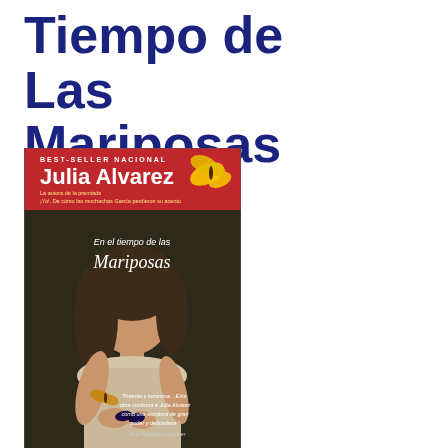Tiempo de Las Mariposas
[Figure (illustration): Book cover of 'En el tiempo de las Mariposas' by Julia Alvarez. Red banner at top reads 'BEST-SELLER NACIONAL' with author name 'Julia Alvarez' and a yellow butterfly. Dark background with a young woman holding a butterfly, text in center reads 'En el tiempo de las Mariposas' with 'Mariposas' in large serif font. Bottom right has a quote in Spanish and The Philadelphia Inquirer attribution.]